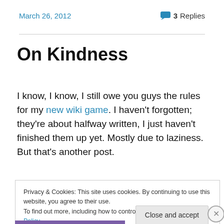March 26, 2012    3 Replies
On Kindness
I know, I know, I still owe you guys the rules for my new wiki game. I haven't forgotten; they're about halfway written, I just haven't finished them up yet. Mostly due to laziness. But that's another post.
Privacy & Cookies: This site uses cookies. By continuing to use this website, you agree to their use.
To find out more, including how to control cookies, see here: Cookie Policy
Close and accept